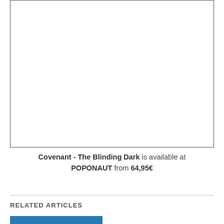[Figure (other): Empty white bordered box representing a product image placeholder for Covenant - The Blinding Dark]
Covenant - The Blinding Dark is available at POPONAUT from 64,95€
RELATED ARTICLES